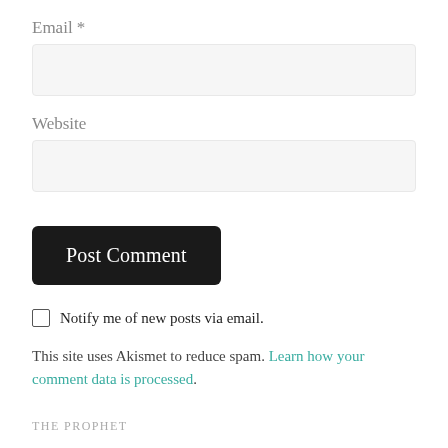Email *
Website
Post Comment
Notify me of new posts via email.
This site uses Akismet to reduce spam. Learn how your comment data is processed.
THE PROPHET